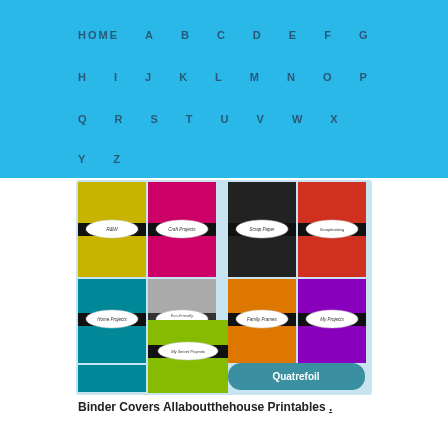HOME A B C D E F G H I J K L M N O P Q R S T U V W X Y Z
[Figure (photo): A collection of colorful quatrefoil-patterned binder covers in yellow, pink, black, coral, teal, gray, orange, purple, and green. Each cover has a black band across the middle with a white oval label showing text like 'R&W', 'Craft Projects', 'Scrap Paper', 'Scrapbooking', 'Home Projects', 'Eco-Friendly Binder', 'Family Frames', 'My Projects', 'My Secret Projects'. A teal rounded button at the bottom reads 'Quatrefoil'.]
Binder Covers Allaboutthehouse Printables